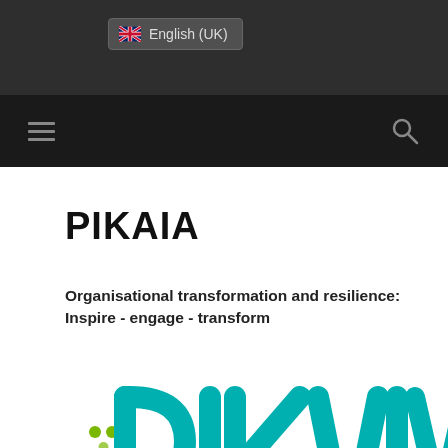English (UK)
PIKAIA
Organisational transformation and resilience: Inspire - engage - transform
[Figure (logo): Pikaia logo in teal/turquoise lettering, large stylized text reading PIKAIA with decorative dots]